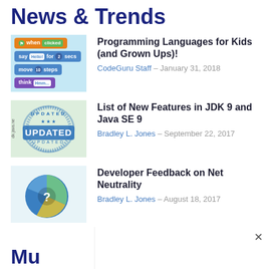News & Trends
Programming Languages for Kids (and Grown Ups)! — CodeGuru Staff — January 31, 2018
List of New Features in JDK 9 and Java SE 9 — Bradley L. Jones — September 22, 2017
Developer Feedback on Net Neutrality — Bradley L. Jones — August 18, 2017
[Figure (screenshot): Pagination controls with minus and plus buttons]
Mu